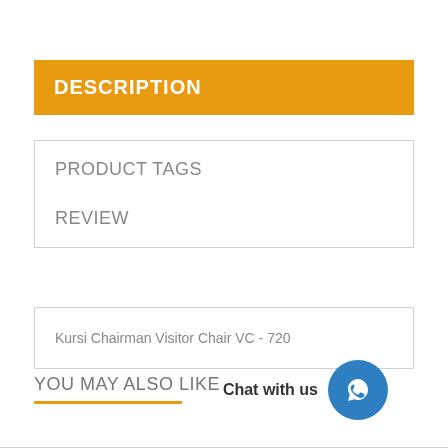DESCRIPTION
PRODUCT TAGS
REVIEW
Kursi Chairman Visitor Chair VC - 720
YOU MAY ALSO LIKE
Chat with us